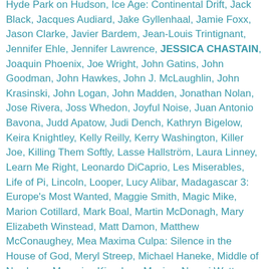Hyde Park on Hudson, Ice Age: Continental Drift, Jack Black, Jacques Audiard, Jake Gyllenhaal, Jamie Foxx, Jason Clarke, Javier Bardem, Jean-Louis Trintignant, Jennifer Ehle, Jennifer Lawrence, JESSICA CHASTAIN, Joaquin Phoenix, Joe Wright, John Gatins, John Goodman, John Hawkes, John J. McLaughlin, John Krasinski, John Logan, John Madden, Jonathan Nolan, Jose Rivera, Joss Whedon, Joyful Noise, Juan Antonio Bavona, Judd Apatow, Judi Dench, Kathryn Bigelow, Keira Knightley, Kelly Reilly, Kerry Washington, Killer Joe, Killing Them Softly, Lasse Hallström, Laura Linney, Learn Me Right, Leonardo DiCaprio, Les Miserables, Life of Pi, Lincoln, Looper, Lucy Alibar, Madagascar 3: Europe's Most Wanted, Maggie Smith, Magic Mike, Marion Cotillard, Mark Boal, Martin McDonagh, Mary Elizabeth Winstead, Matt Damon, Matthew McConaughey, Mea Maxima Culpa: Silence in the House of God, Meryl Streep, Michael Haneke, Middle of Nowhere, Moonrise Kingdom, Movies, Naomi Watts, Neal Purvis, Nicole Kidman, Not Running Anymore, Ol Parker, Olivier Nakache, On The Road, Oscar, Oscars, ParaNorman, Patrick Marber, Paul Thomas Anderson, Paul Williams